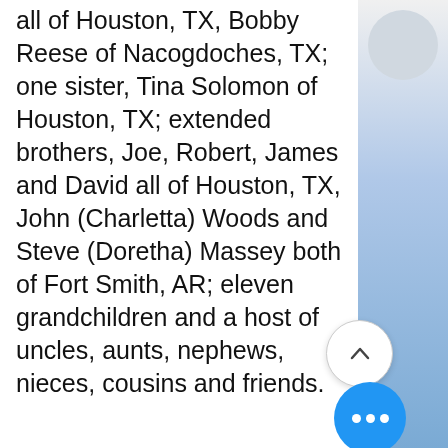all of Houston, TX, Bobby Reese of Nacogdoches, TX; one sister, Tina Solomon of Houston, TX; extended brothers, Joe, Robert, James and David all of Houston, TX, John (Charletta) Woods and Steve (Doretha) Massey both of Fort Smith, AR; eleven grandchildren and a host of uncles, aunts, nephews, nieces, cousins and friends.
Visitation will be held, Friday, June 23, 2017, from 6pm-7pm at Rowell-Parish Mortuary, 611 N. 9th St. Fort Smith, 72901.
Funeral service will be held, Saturday,